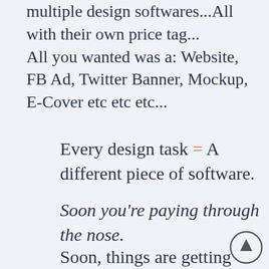multiple design softwares...All with their own price tag...
All you wanted was a: Website, FB Ad, Twitter Banner, Mockup, E-Cover etc etc etc...
Every design task = A different piece of software.
Soon you're paying through the nose.
Soon, things are getting complicated.